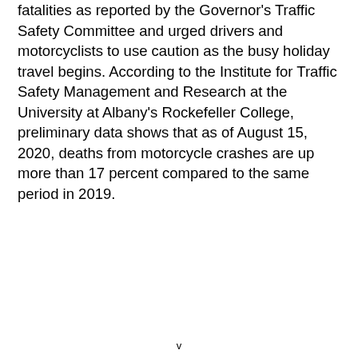fatalities as reported by the Governor's Traffic Safety Committee and urged drivers and motorcyclists to use caution as the busy holiday travel begins. According to the Institute for Traffic Safety Management and Research at the University at Albany's Rockefeller College, preliminary data shows that as of August 15, 2020, deaths from motorcycle crashes are up more than 17 percent compared to the same period in 2019.
v